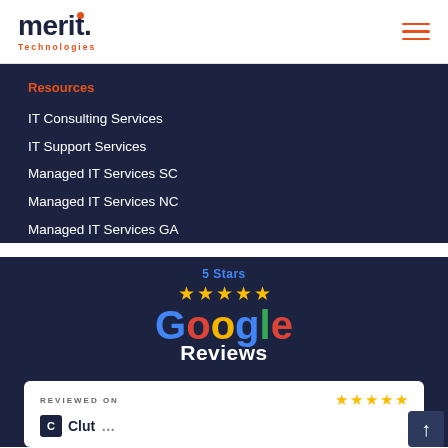[Figure (logo): Merit Technologies logo with orange dot on the 'i' and orange 'Technologies' subtitle]
Resources
IT Consulting Services
IT Support Services
Managed IT Services SC
Managed IT Services NC
Managed IT Services GA
[Figure (logo): 5 Stars Google Reviews badge with five yellow stars above the Google wordmark in multicolor letters followed by 'Reviews' in white]
[Figure (screenshot): Reviewed On card showing five yellow stars and partial Clutch logo at the bottom]